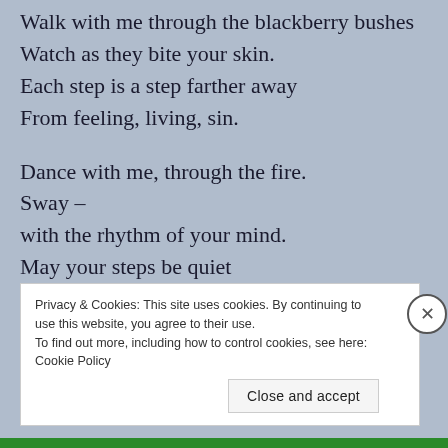Walk with me through the blackberry bushes
Watch as they bite your skin.
Each step is a step farther away
From feeling, living, sin.

Dance with me, through the fire.
Sway –
with the rhythm of your mind.
May your steps be quiet
and your motions bright.
Dance with me
Forever in the fire,
Through the pain and fear tonight
Privacy & Cookies: This site uses cookies. By continuing to use this website, you agree to their use.
To find out more, including how to control cookies, see here: Cookie Policy